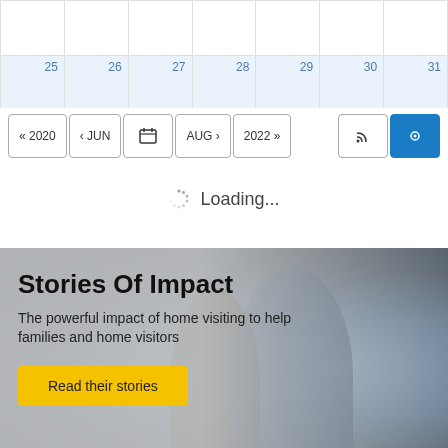| 25 | 26 | 27 | 28 | 29 | 30 | 31 |
| --- | --- | --- | --- | --- | --- | --- |
|  |  |  |  |  |  |  |
« 2020  ‹ JUN  [calendar icon]  AUG ›  2022 »  [rss]  [lastfm]
Loading...
Stories Of Impact
The powerful impact of home visiting to help families and home visitors
Read their stories